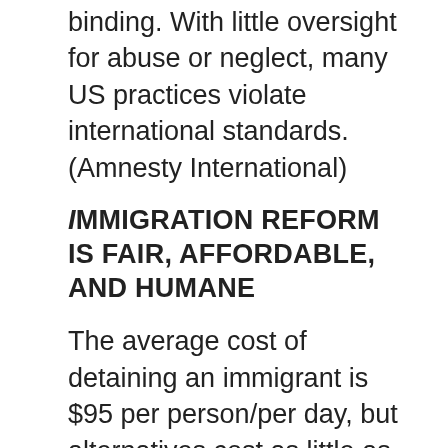binding. With little oversight for abuse or neglect, many US practices violate international standards. (Amnesty International)
IMMIGRATION REFORM IS FAIR, AFFORDABLE, AND HUMANE
The average cost of detaining an immigrant is $95 per person/per day, but alternatives cost as little as $12. Despite the proven effectiveness of these less restrictive alternatives, the US chooses imprisonment. (Amnesty International)
Congress should pass legislation ensuring detention be used as a measure of last resort. When it is used, all detained persons should have access to individualized hearings on their